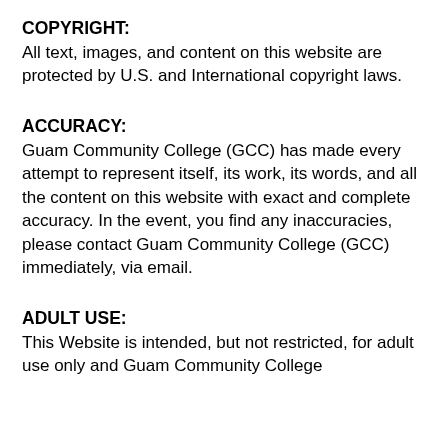COPYRIGHT:
All text, images, and content on this website are protected by U.S. and International copyright laws.
ACCURACY:
Guam Community College (GCC) has made every attempt to represent itself, its work, its words, and all the content on this website with exact and complete accuracy. In the event, you find any inaccuracies, please contact Guam Community College (GCC) immediately, via email.
ADULT USE:
This Website is intended, but not restricted, for adult use only and Guam Community College